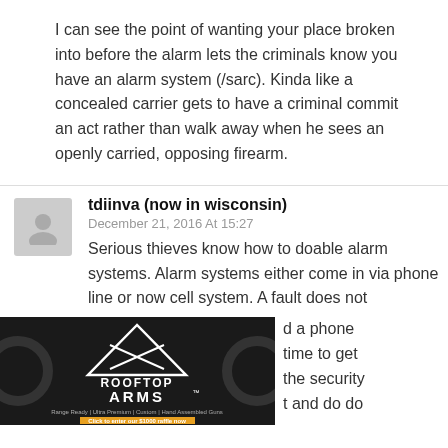I can see the point of wanting your place broken into before the alarm lets the criminals know you have an alarm system (/sarc). Kinda like a concealed carrier gets to have a criminal commit an act rather than walk away when he sees an openly carried, opposing firearm.
tdiinva (now in wisconsin)
December 21, 2016 At 15:27
Serious thieves know how to doable alarm systems. Alarm systems either come in via phone line or now cell system. A fault does not
[Figure (photo): Advertisement banner for Rooftop Arms showing guns and text: Range Ready | Ultra Premium | Custom | Hand Assembled Guns. Click to enter our $1000 raffle now. USA MADE - VETERAN OWNED]
d a phone time to get the security t and do do